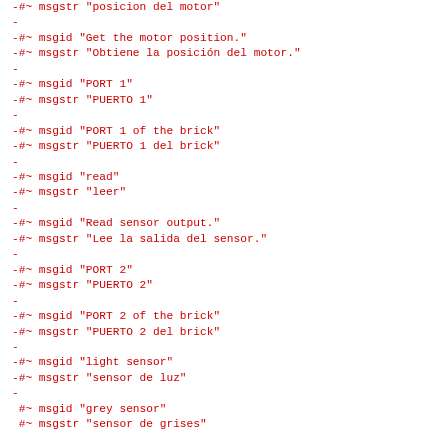-#~ msgstr "posicion del motor"
-
-#~ msgid "Get the motor position."
-#~ msgstr "Obtiene la posición del motor."
-
-#~ msgid "PORT 1"
-#~ msgstr "PUERTO 1"
-
-#~ msgid "PORT 1 of the brick"
-#~ msgstr "PUERTO 1 del brick"
-
-#~ msgid "read"
-#~ msgstr "leer"
-
-#~ msgid "Read sensor output."
-#~ msgstr "Lee la salida del sensor."
-
-#~ msgid "PORT 2"
-#~ msgstr "PUERTO 2"
-
-#~ msgid "PORT 2 of the brick"
-#~ msgstr "PUERTO 2 del brick"
-
-#~ msgid "light sensor"
-#~ msgstr "sensor de luz"
-
 #~ msgid "grey sensor"
 #~ msgstr "sensor de grises"

-#~ msgid "PORT 3"
-#~ msgstr "PUERTO 3"